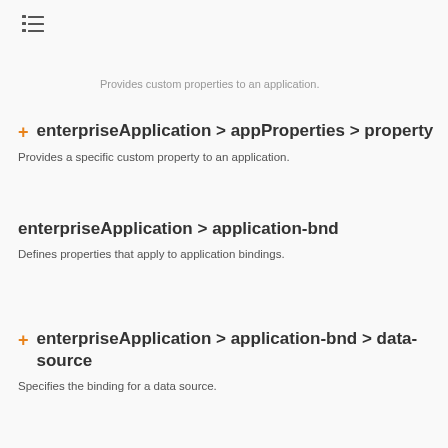≡ (list icon)
Provides custom properties to an application.
enterpriseApplication > appProperties > property
Provides a specific custom property to an application.
enterpriseApplication > application-bnd
Defines properties that apply to application bindings.
enterpriseApplication > application-bnd > data-source
Specifies the binding for a data source.